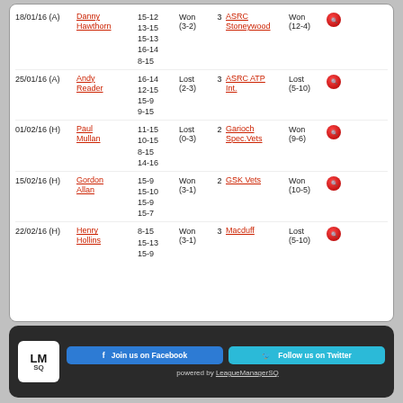| Date | Player | Scores | Result | Rinks | Opponent | O.Result |  |
| --- | --- | --- | --- | --- | --- | --- | --- |
| 18/01/16 (A) | Danny Hawthorn | 15-12
13-15
15-13
16-14
8-15 | Won (3-2) | 3 | ASRC Stoneywood | Won (12-4) |  |
| 25/01/16 (A) | Andy Reader | 16-14
12-15
15-9
9-15 | Lost (2-3) | 3 | ASRC ATP Int. | Lost (5-10) |  |
| 01/02/16 (H) | Paul Mullan | 11-15
10-15
8-15
14-16 | Lost (0-3) | 2 | Garioch Spec.Vets | Won (9-6) |  |
| 15/02/16 (H) | Gordon Allan | 15-9
15-10
15-9
15-7 | Won (3-1) | 2 | GSK Vets | Won (10-5) |  |
| 22/02/16 (H) | Henry Hollins | 8-15
15-13
15-9 | Won (3-1) | 3 | Macduff | Lost (5-10) |  |
powered by LeagueManagerSQ